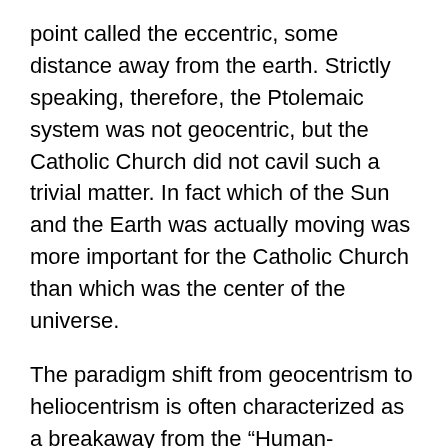point called the eccentric, some distance away from the earth. Strictly speaking, therefore, the Ptolemaic system was not geocentric, but the Catholic Church did not cavil such a trivial matter. In fact which of the Sun and the Earth was actually moving was more important for the Catholic Church than which was the center of the universe.
The paradigm shift from geocentrism to heliocentrism is often characterized as a breakaway from the “Human-Centered Universe[19]” , but the Catholic Church did not persecute the Copernican doctrine because they did not want to abandon geocentrism as anthropocentrism, which was rather peculiar to Aristotelian school. According to Aristotle the center of the universe is the Earth, because earth, the heaviest element of the four, tends to fall toward the center of the universe, while light elements such as fire tend to rise upward, away from